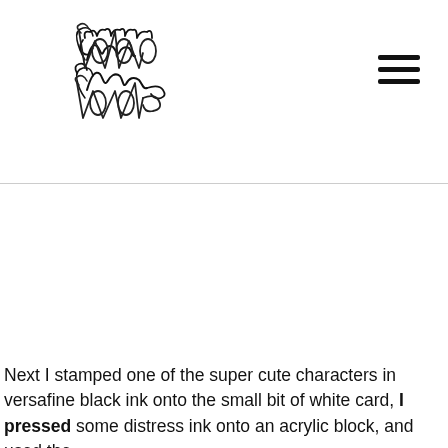[Figure (logo): Mama Makes handwritten script logo in black ink on white background]
Next I stamped one of the super cute characters in versafine black ink onto the small bit of white card, I pressed some distress ink onto an acrylic block, and used the...